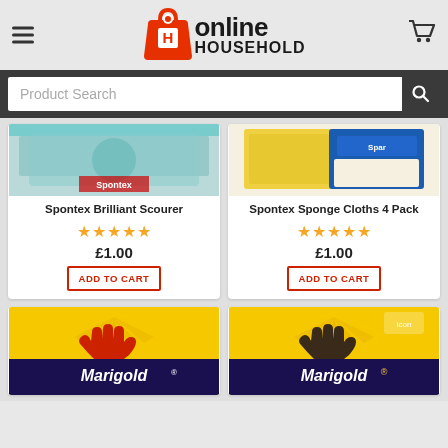[Figure (logo): Online Household logo with red shopping bag icon and bold text]
Product Search
[Figure (photo): Spontex Brilliant Scourer product image (partially cropped, teal/green packaging)]
Spontex Brilliant Scourer
£1.00
ADD TO CART
[Figure (photo): Spontex Sponge Cloths 4 Pack product image (partially cropped, yellow and blue packaging)]
Spontex Sponge Cloths 4 Pack
£1.00
ADD TO CART
[Figure (photo): Marigold rubber gloves product image - yellow package with red glove on dark blue background]
[Figure (photo): Marigold rubber gloves product image - yellow package with dark brown/black glove on dark blue background]